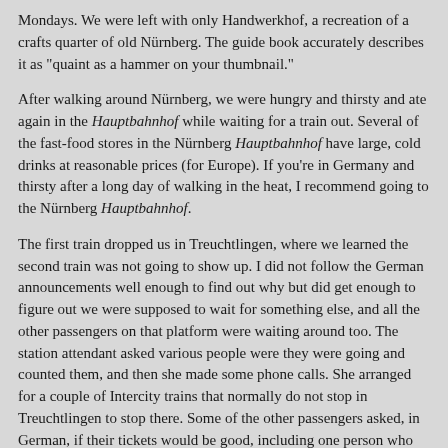Mondays. We were left with only Handwerkhof, a recreation of a crafts quarter of old Nürnberg. The guide book accurately describes it as "quaint as a hammer on your thumbnail."
After walking around Nürnberg, we were hungry and thirsty and ate again in the Hauptbahnhof while waiting for a train out. Several of the fast-food stores in the Nürnberg Hauptbahnhof have large, cold drinks at reasonable prices (for Europe). If you're in Germany and thirsty after a long day of walking in the heat, I recommend going to the Nürnberg Hauptbahnhof.
The first train dropped us in Treuchtlingen, where we learned the second train was not going to show up. I did not follow the German announcements well enough to find out why but did get enough to figure out we were supposed to wait for something else, and all the other passengers on that platform were waiting around too. The station attendant asked various people were they were going and counted them, and then she made some phone calls. She arranged for a couple of Intercity trains that normally do not stop in Treuchtlingen to stop there. Some of the other passengers asked, in German, if their tickets would be good, including one person who asked about a Bayern-Ticket, and the attendant said the tickets would be good. So, we got to use a local-train Bayern-Ticket on an Intercity train.